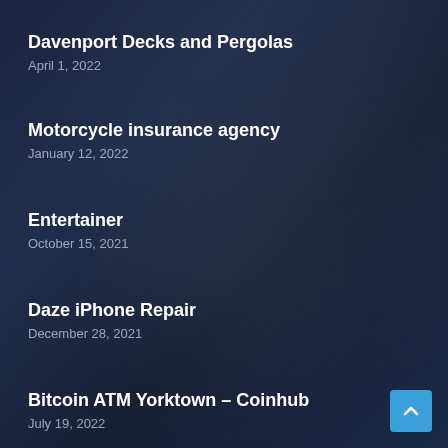Davenport Decks and Pergolas
April 1, 2022
Motorcycle insurance agency
January 12, 2022
Entertainer
October 15, 2021
Daze iPhone Repair
December 28, 2021
Bitcoin ATM Yorktown – Coinhub
July 19, 2022